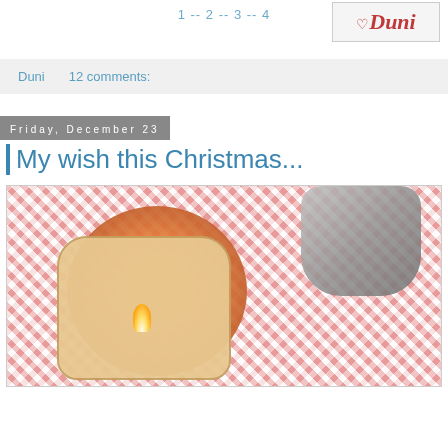1 -- 2 -- 3 -- 4
[Figure (logo): Duni blog logo with heart symbol and red italic text on light grey background]
Duni   12 comments:
Friday, December 23
My wish this Christmas...
[Figure (photo): A glowing wooden Christmas lantern tealight holder with cutout Christmas tree and star designs, sitting on a red and white checkered tablecloth, with a silver decorative object in the background]